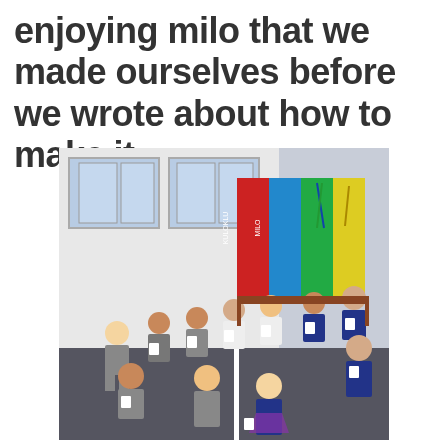enjoying milo that we made ourselves before we wrote about how to make it.
[Figure (photo): A group of school children in uniforms (navy and plaid) sitting outside on a school playground, each holding white paper cups, drinking milo. Behind them is a colorful wall display with red, blue, green, and yellow panels. The building has white weatherboard walls and large windows.]